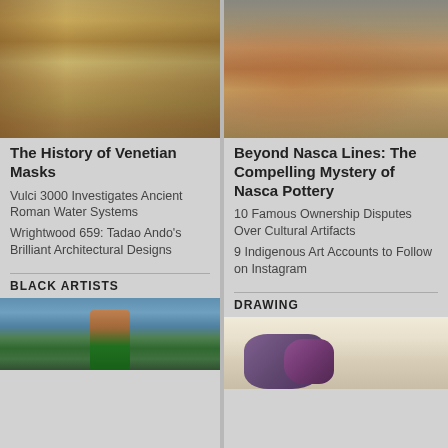[Figure (photo): Fresco painting of a Renaissance theater or palatial hall with figures in balconies, warm golden tones]
The History of Venetian Masks
Vulci 3000 Investigates Ancient Roman Water Systems
Wrightwood 659: Tadao Ando's Brilliant Architectural Designs
[Figure (photo): Nasca pottery artifacts including a large brown bowl and decorated ceramic vessels on a table]
Beyond Nasca Lines: The Compelling Mystery of Nasca Pottery
10 Famous Ownership Disputes Over Cultural Artifacts
9 Indigenous Art Accounts to Follow on Instagram
BLACK ARTISTS
[Figure (photo): Colorful figurative painting featuring a Black figure in green and yellow against a blue tiled background]
DRAWING
[Figure (photo): Botanical illustration or drawing of purple eggplants/aubergines on a light background]